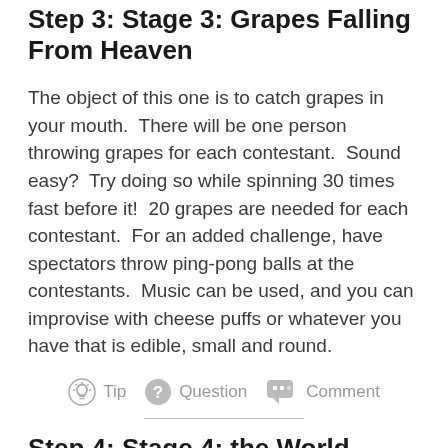Step 3: Stage 3: Grapes Falling From Heaven
The object of this one is to catch grapes in your mouth.  There will be one person throwing grapes for each contestant.  Sound easy?  Try doing so while spinning 30 times fast before it!  20 grapes are needed for each contestant.  For an added challenge, have spectators throw ping-pong balls at the contestants.  Music can be used, and you can improvise with cheese puffs or whatever you have that is edible, small and round.
[Figure (infographic): Action bar with three icons and labels: a lightbulb icon labeled 'Tip', a question mark circle labeled 'Question', and a speech bubble icon labeled 'Comment']
Step 4: Stage 4: the World Turned